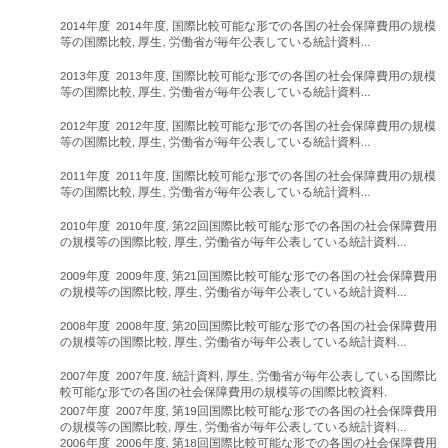2014年度2014年度, 国際比較可能な形での各国の社会保障費用の規模等の国際比較, 厚生, 労働省が毎年公表している統計資料...
2013年度2013年度, 国際比較可能な形での各国の社会保障費用の規模等の国際比較, 厚生, 労働省が毎年公表している統計資料...
2012年度2012年度, 国際比較可能な形での各国の社会保障費用の規模等の国際比較, 厚生, 労働省が毎年公表している統計資料...
2011年度2011年度, 国際比較可能な形での各国の社会保障費用の規模等の国際比較, 厚生, 労働省が毎年公表している統計資料...
2010年度2010年度, 第22回国際比較可能な形での各国の社会保障費用の規模等の国際比較, 厚生, 労働省が毎年公表している統計資料...
2009年度2009年度, 第21回国際比較可能な形での各国の社会保障費用の規模等の国際比較, 厚生, 労働省が毎年公表している統計資料...
2008年度2008年度, 第20回国際比較可能な形での各国の社会保障費用の規模等の国際比較, 厚生, 労働省が毎年公表している統計資料...
2007年度2007年度, 統計資料, 厚生, 労働省が毎年公表している国際比較可能な形での各国の社会保障費用の規模等の国際比較資料.
2007年度2007年度, 第19回国際比較可能な形での各国の社会保障費用の規模等の国際比較, 厚生, 労働省が毎年公表している統計資料...
2006年度2006年度, 第18回国際比較可能な形での各国の社会保障費用の規模等の国際比較, 厚生, 労働省が毎年公表している統計資料...